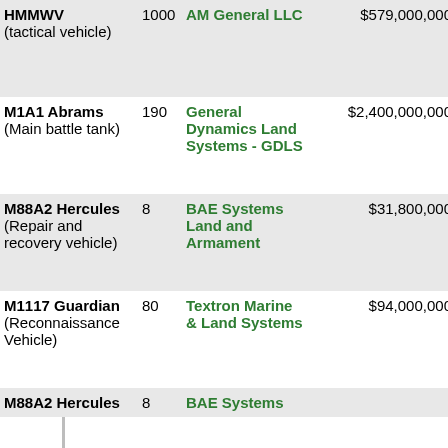| Item | Qty | Vendor | Value | Date |
| --- | --- | --- | --- | --- |
| HMMWV (tactical vehicle) | 1000 | AM General LLC | $579,000,000 | Dec 2014 (Dec 2015) |
| M1A1 Abrams (Main battle tank) | 190 | General Dynamics Land Systems - GDLS | $2,400,000,000 | Dec 2014 (Dec 2015) |
| M88A2 Hercules (Repair and recovery vehicle) | 8 | BAE Systems Land and Armament | $31,800,000 | Oct 2012 (Jun 2014) |
| M1117 Guardian (Reconnaissance Vehicle) | 80 | Textron Marine & Land Systems | $94,000,000 | May 2010 (Mar 2011) |
| M88A2 Hercules | 8 | BAE Systems | Jan |  |